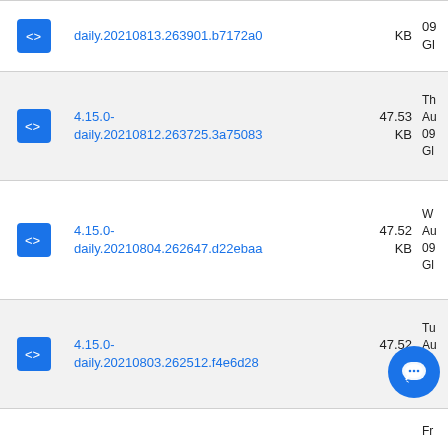| Icon | Name | Size | Date |
| --- | --- | --- | --- |
| [icon] | 4.15.0-daily.20210813.263901.b7172a0 | KB | 09... G... |
| [icon] | 4.15.0-daily.20210812.263725.3a75083 | 47.53 KB | Au... 09... G... |
| [icon] | 4.15.0-daily.20210804.262647.d22ebaa | 47.52 KB | W... Au... 09... G... |
| [icon] | 4.15.0-daily.20210803.262512.f4e6d28 | 47.52 KB | Tu... Au... 09... G... |
|  |  |  | Fr... |